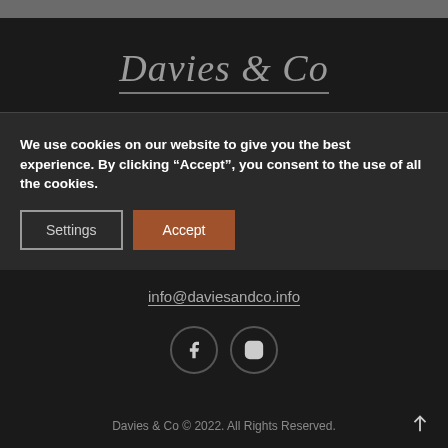[Figure (logo): Davies & Co logo in italic grey script with underline]
We use cookies on our website to give you the best experience. By clicking “Accept”, you consent to the use of all the cookies.
Settings | Accept
info@daviesandco.info
[Figure (illustration): Facebook and Instagram social media icon circles]
Davies & Co © 2022. All Rights Reserved.